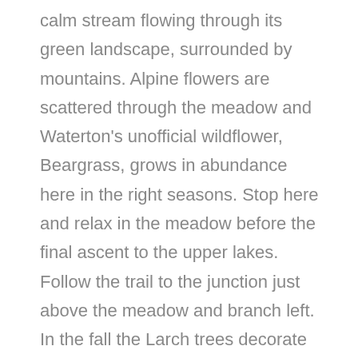calm stream flowing through its green landscape, surrounded by mountains. Alpine flowers are scattered through the meadow and Waterton's unofficial wildflower, Beargrass, grows in abundance here in the right seasons. Stop here and relax in the meadow before the final ascent to the upper lakes. Follow the trail to the junction just above the meadow and branch left. In the fall the Larch trees decorate the trail with their golden colour that complement the landscape. A steep climb with switchbacks brings you quickly up to a hanging valley where the lakes sit. Water from the middle lake spills down over the edge into Lower Rowe lake in early season, and the upper lake is located just above. The high ridge behind the lakes make up part of the Continental Divide and often Bighorn Sheep are seen wandering these high elevations. Take a swim to cool off (if you're brave!) and